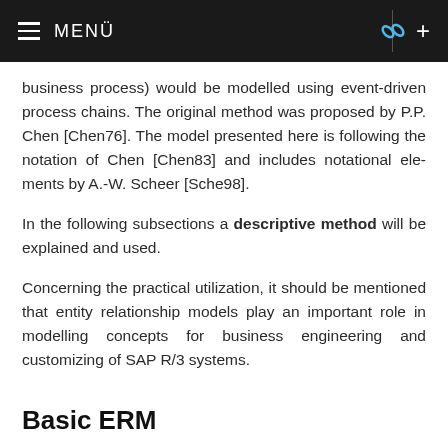≡  MENÜ
business process) would be modelled using event-driven process chains. The original method was proposed by P.P. Chen [Chen76]. The model presented here is following the notation of Chen [Chen83] and includes notational elements by A.-W. Scheer [Sche98].
In the following subsections a descriptive method will be explained and used.
Concerning the practical utilization, it should be mentioned that entity relationship models play an important role in modelling concepts for business engineering and customizing of SAP R/3 systems.
Basic ERM